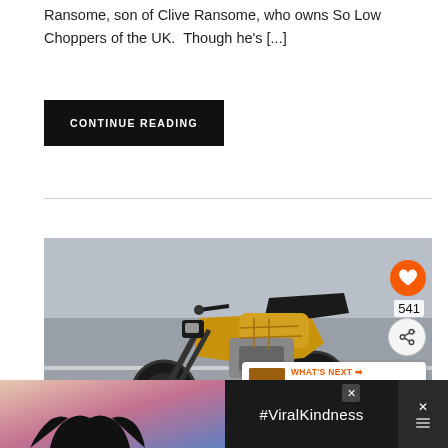Ransome, son of Clive Ransome, who owns So Low Choppers of the UK.  Though he's [...]
CONTINUE READING
[Figure (photo): Custom gold and black motorcycle (cafe racer / scrambler style) photographed on a road surface, front three-quarter view. Orange heart button showing 541 likes and a share button overlay on the right side. A 'What's Next' thumbnail card in the bottom right shows 'Top 10 Scramblers ...']
[Figure (photo): Advertisement banner at bottom: dark background with #ViralKindness text, showing silhouette of hands making a heart shape against a colorful sky background.]